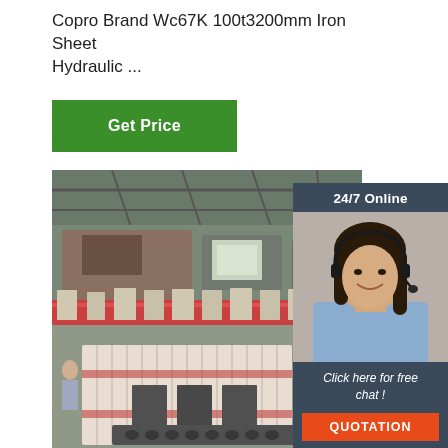Copro Brand Wc67K 100t3200mm Iron Sheet Hydraulic ...
Get Price
[Figure (photo): Aerial/overhead view of an industrial factory floor with machinery, equipment lines, and shipping containers inside a large warehouse]
[Figure (infographic): 24/7 Online chat widget with a female customer service representative wearing a headset, with a QUOTATION button and 'Click here for free chat!' text]